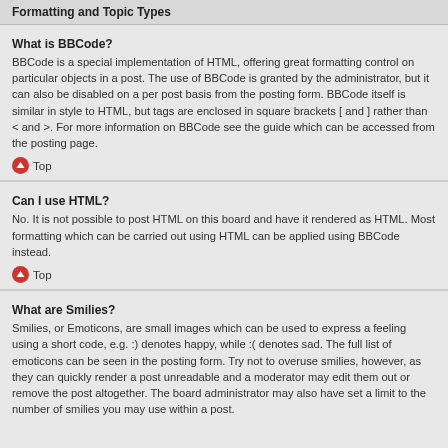Formatting and Topic Types
What is BBCode?
BBCode is a special implementation of HTML, offering great formatting control on particular objects in a post. The use of BBCode is granted by the administrator, but it can also be disabled on a per post basis from the posting form. BBCode itself is similar in style to HTML, but tags are enclosed in square brackets [ and ] rather than < and >. For more information on BBCode see the guide which can be accessed from the posting page.
Top
Can I use HTML?
No. It is not possible to post HTML on this board and have it rendered as HTML. Most formatting which can be carried out using HTML can be applied using BBCode instead.
Top
What are Smilies?
Smilies, or Emoticons, are small images which can be used to express a feeling using a short code, e.g. :) denotes happy, while :( denotes sad. The full list of emoticons can be seen in the posting form. Try not to overuse smilies, however, as they can quickly render a post unreadable and a moderator may edit them out or remove the post altogether. The board administrator may also have set a limit to the number of smilies you may use within a post.